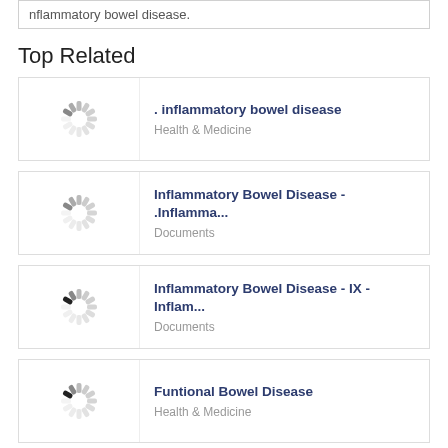nflammatory bowel disease.
Top Related
[Figure (screenshot): Loading spinner thumbnail for first related item]
. inflammatory bowel disease
Health & Medicine
[Figure (screenshot): Loading spinner thumbnail for second related item]
Inflammatory Bowel Disease - .Inflamma...
Documents
[Figure (screenshot): Loading spinner thumbnail for third related item]
Inflammatory Bowel Disease - IX - Inflam...
Documents
[Figure (screenshot): Loading spinner thumbnail for fourth related item]
Funtional Bowel Disease
Health & Medicine